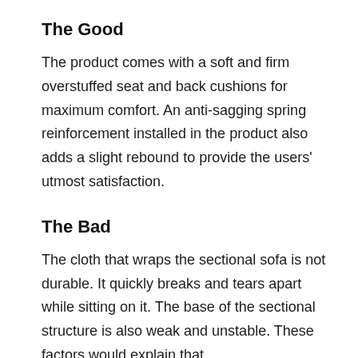The Good
The product comes with a soft and firm overstuffed seat and back cushions for maximum comfort. An anti-sagging spring reinforcement installed in the product also adds a slight rebound to provide the users' utmost satisfaction.
The Bad
The cloth that wraps the sectional sofa is not durable. It quickly breaks and tears apart while sitting on it. The base of the sectional structure is also weak and unstable. These factors would explain that